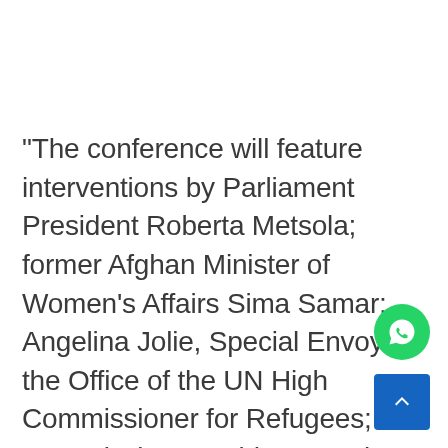"The conference will feature interventions by Parliament President Roberta Metsola; former Afghan Minister of Women's Affairs Sima Samar; Angelina Jolie, Special Envoy to the Office of the UN High Commissioner for Refugees; EU Commission President Ursula von der Leyen; and UN Deputy Secretary General Amina Mohammed. It will be concluded with an address and musical appearance by Afghan singer and songwriter Aryana Sayed